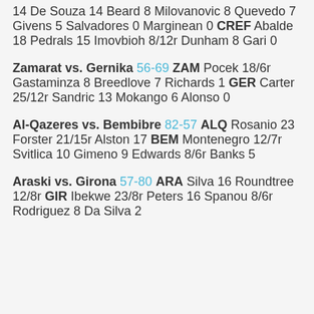14 De Souza 14 Beard 8 Milovanovic 8 Quevedo 7 Givens 5 Salvadores 0 Marginean 0 CREF Abalde 18 Pedrals 15 Imovbioh 8/12r Dunham 8 Gari 0
Zamarat vs. Gernika 56-69 ZAM Pocek 18/6r Gastaminza 8 Breedlove 7 Richards 1 GER Carter 25/12r Sandric 13 Mokango 6 Alonso 0
Al-Qazeres vs. Bembibre 82-57 ALQ Rosanio 23 Forster 21/15r Alston 17 BEM Montenegro 12/7r Svitlica 10 Gimeno 9 Edwards 8/6r Banks 5
Araski vs. Girona 57-80 ARA Silva 16 Roundtree 12/8r GIR Ibekwe 23/8r Peters 16 Spanou 8/6r Rodriguez 8 Da Silva 2